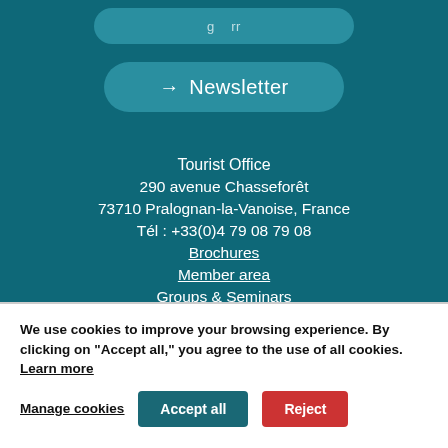[Figure (screenshot): Truncated top bar button in teal background]
→  Newsletter
Tourist Office
290 avenue Chasseforêt
73710 Pralognan-la-Vanoise, France
Tél : +33(0)4 79 08 79 08
Brochures
Member area
Groups & Seminars
We use cookies to improve your browsing experience. By clicking on "Accept all," you agree to the use of all cookies. Learn more
Manage cookies   Accept all   Reject